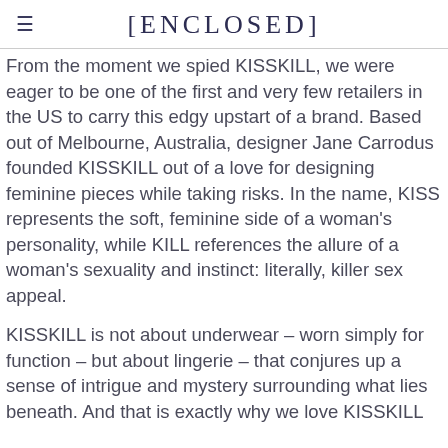[ENCLOSED]
From the moment we spied KISSKILL, we were eager to be one of the first and very few retailers in the US to carry this edgy upstart of a brand. Based out of Melbourne, Australia, designer Jane Carrodus founded KISSKILL out of a love for designing feminine pieces while taking risks. In the name, KISS represents the soft, feminine side of a woman's personality, while KILL references the allure of a woman's sexuality and instinct: literally, killer sex appeal.
KISSKILL is not about underwear – worn simply for function – but about lingerie – that conjures up a sense of intrigue and mystery surrounding what lies beneath. And that is exactly why we love KISSKILL.